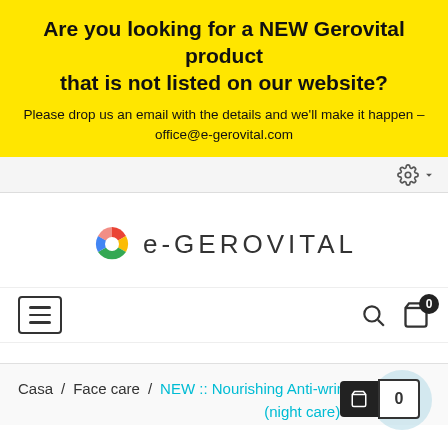Are you looking for a NEW Gerovital product that is not listed on our website?
Please drop us an email with the details and we'll make it happen – office@e-gerovital.com
[Figure (logo): e-GEROVITAL logo with colorful pinwheel/circle icon]
[Figure (screenshot): Website navigation bar with hamburger menu, search icon, shopping bag icon with badge 0]
Casa / Face care / NEW :: Nourishing Anti-wrinkle Cream (night care)